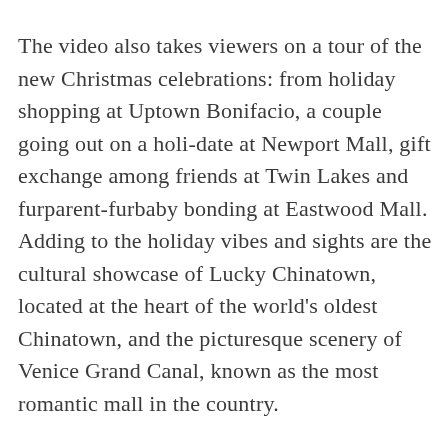The video also takes viewers on a tour of the new Christmas celebrations: from holiday shopping at Uptown Bonifacio, a couple going out on a holi-date at Newport Mall, gift exchange among friends at Twin Lakes and furparent-furbaby bonding at Eastwood Mall. Adding to the holiday vibes and sights are the cultural showcase of Lucky Chinatown, located at the heart of the world's oldest Chinatown, and the picturesque scenery of Venice Grand Canal, known as the most romantic mall in the country.